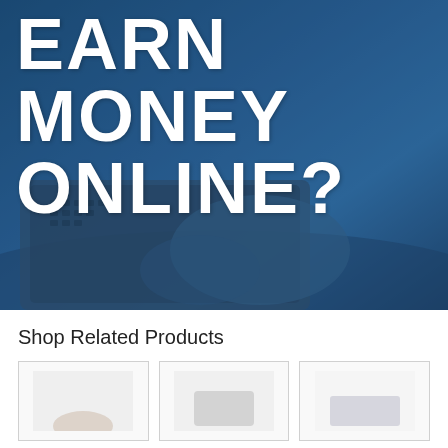[Figure (photo): Blue-tinted photo of person typing on laptop at desk, with text overlay reading 'EARN MONEY ONLINE?']
EARN MONEY ONLINE?
Shop Related Products
[Figure (photo): Product thumbnail image 1]
[Figure (photo): Product thumbnail image 2]
[Figure (photo): Product thumbnail image 3]